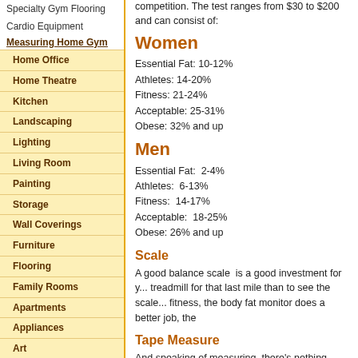Specialty Gym Flooring
Cardio Equipment
Measuring Home Gym
Home Office
Home Theatre
Kitchen
Landscaping
Lighting
Living Room
Painting
Storage
Wall Coverings
Furniture
Flooring
Family Rooms
Apartments
Appliances
Art
Bathrooms
Bedrooms
Carpet and Area Rugs
competition. The test ranges from $30 to $200 and can consist of:
Women
Essential Fat: 10-12%
Athletes: 14-20%
Fitness: 21-24%
Acceptable: 25-31%
Obese: 32% and up
Men
Essential Fat:  2-4%
Athletes:  6-13%
Fitness:  14-17%
Acceptable:  18-25%
Obese: 26% and up
Scale
A good balance scale  is a good investment for y... treadmill for that last mile than to see the scale... fitness, the body fat monitor does a better job, the...
Tape Measure
And speaking of measuring, there’s nothing mo... less than a few dollars and can help you track...